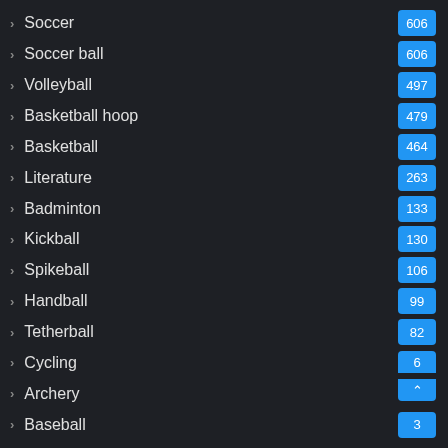Soccer
Soccer ball
Volleyball
Basketball hoop
Basketball
Literature
Badminton
Kickball
Spikeball
Handball
Tetherball
Cycling
Archery
Baseball